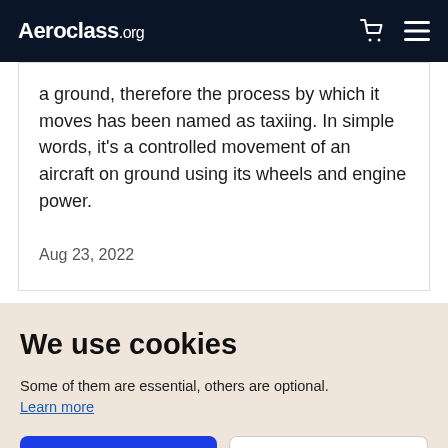Aeroclass.org
a ground, therefore the process by which it moves has been named as taxiing. In simple words, it’s a controlled movement of an aircraft on ground using its wheels and engine power.
Aug 23, 2022
We use cookies
Some of them are essential, others are optional.
Learn more
Accept all cookies
Personalise